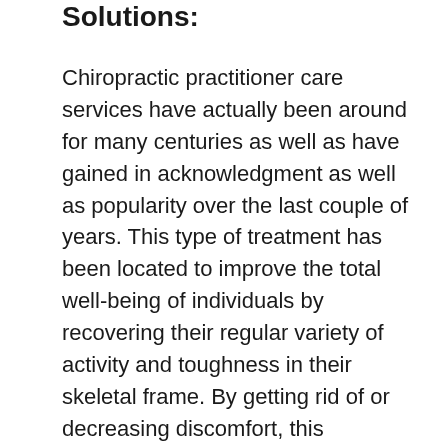Solutions:
Chiropractic practitioner care services have actually been around for many centuries as well as have gained in acknowledgment as well as popularity over the last couple of years. This type of treatment has been located to improve the total well-being of individuals by recovering their regular variety of activity and toughness in their skeletal frame. By getting rid of or decreasing discomfort, this treatment can significantly enhance an individual's lifestyle. Several chiropractic practitioners supply this type of aid however the most effective ones likewise exercise preventive measures in addition to the treatment. This is done by meticulously examining the history of the